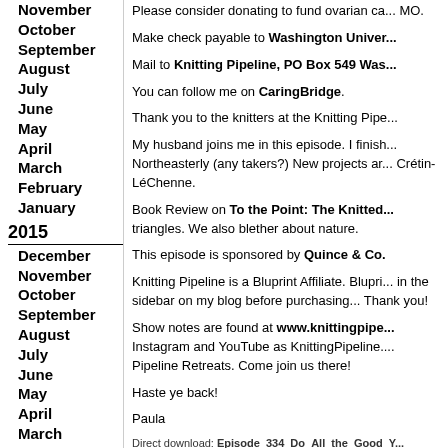November
October
September
August
July
June
May
April
March
February
January
2015
December
November
October
September
August
July
June
May
April
March
February
January
2014
December
November
October
September
August
July
Please consider donating to fund ovarian ca... MO.
Make check payable to Washington Univer...
Mail to Knitting Pipeline, PO Box 549 Was...
You can follow me on CaringBridge.
Thank you to the knitters at the Knitting Pipe...
My husband joins me in this episode. I finish... Northeasterly (any takers?) New projects ar... Crétin-LéChenne.
Book Review on To the Point: The Knitted... triangles. We also blether about nature.
This episode is sponsored by Quince & Co...
Knitting Pipeline is a Bluprint Affiliate. Blupri... in the sidebar on my blog before purchasing... Thank you!
Show notes are found at www.knittingpipe... Instagram and YouTube as KnittingPipeline.... Pipeline Retreats. Come join us there!
Haste ye back!
Paula
Direct download: Episode_334_Do_All_the_Good_Y... Category: Hobbies -- posted at: 4:25pm CDT
Fri, 25 October 2019
Episode 333 Embro...